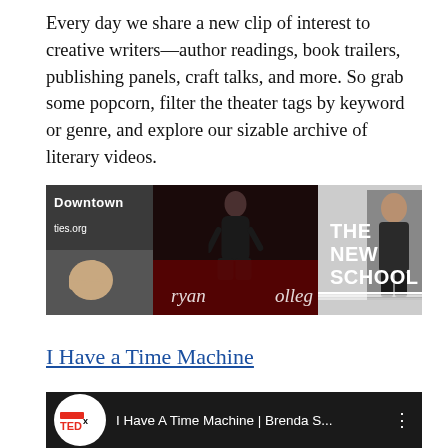Every day we share a new clip of interest to creative writers—author readings, book trailers, publishing panels, craft talks, and more. So grab some popcorn, filter the theater tags by keyword or genre, and explore our sizable archive of literary videos.
[Figure (screenshot): Three-panel video strip showing: left panel with 'Downtown' text and 'ties.org' on dark background with hand pointing; center panel with speaker in black dress on dark stage with 'ryan' and 'olleg' text; right panel with 'THE NEW SCHOOL' text in white on gray background with man in suit.]
I Have a Time Machine
[Figure (screenshot): TEDx video thumbnail showing TEDx logo on left, text 'I Have A Time Machine | Brenda S...' and three-dot menu on dark background.]